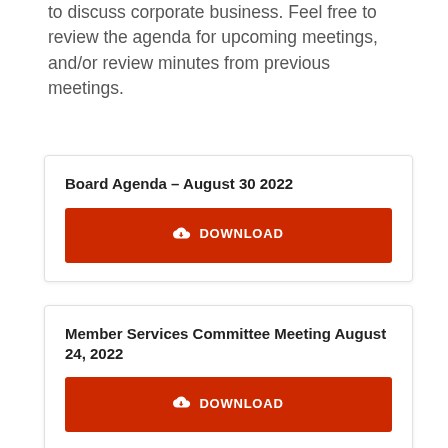to discuss corporate business. Feel free to review the agenda for upcoming meetings, and/or review minutes from previous meetings.
Board Agenda – August 30 2022
DOWNLOAD
Member Services Committee Meeting August 24, 2022
DOWNLOAD